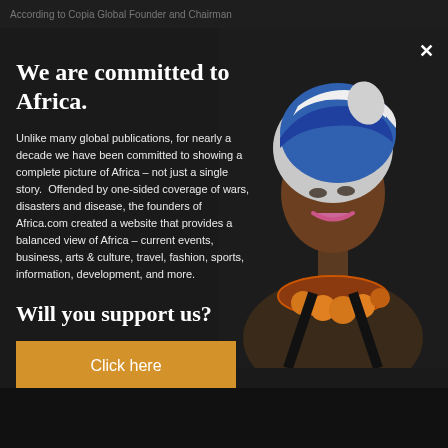According to Copia Global Founder and Chairman
We are committed to Africa.
[Figure (photo): Portrait photo of an African woman wearing a colorful blue head wrap and an ornate orange beaded necklace, against a dark background, wearing a black tank top.]
Unlike many global publications, for nearly a decade we have been committed to showing a complete picture of Africa – not just a single story. Offended by one-sided coverage of wars, disasters and disease, the founders of Africa.com created a website that provides a balanced view of Africa – current events, business, arts & culture, travel, fashion, sports, information, development, and more.
Will you support us?
Click here